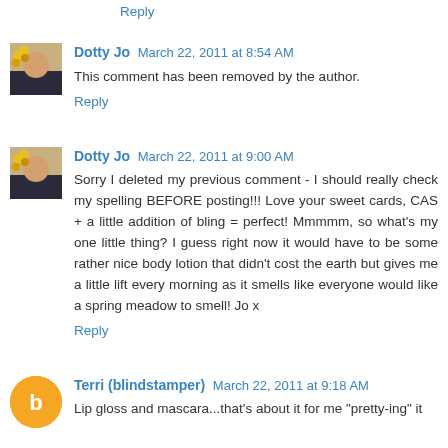Reply
Dotty Jo  March 22, 2011 at 8:54 AM
This comment has been removed by the author.
Reply
Dotty Jo  March 22, 2011 at 9:00 AM
Sorry I deleted my previous comment - I should really check my spelling BEFORE posting!!! Love your sweet cards, CAS + a little addition of bling = perfect! Mmmmm, so what's my one little thing? I guess right now it would have to be some rather nice body lotion that didn't cost the earth but gives me a little lift every morning as it smells like everyone would like a spring meadow to smell! Jo x
Reply
Terri (blindstamper)  March 22, 2011 at 9:18 AM
Lip gloss and mascara...that's about it for me "pretty-ing" it